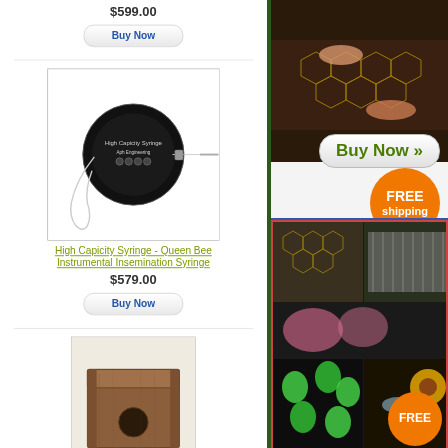$599.00
Buy Now
[Figure (photo): High Capacity Syringe product image - black circular device with needles and tubing]
High Capicity Syringe - Queen Bee Instrumental Insemination Syringe
$579.00
Buy Now
[Figure (photo): Wooden box/hive component with circular hole]
[Figure (photo): Hands working on beekeeping frame]
Buy Now »
FREE shipping
[Figure (photo): Collage of beekeeping supplies including green items, bee, and flower]
Buy Now »
FREE